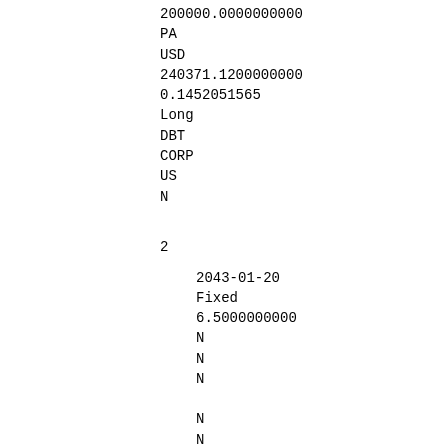200000.0000000000
PA
USD
240371.1200000000
0.1452051565
Long
DBT
CORP
US
N
2
2043-01-20
Fixed
6.5000000000
N
N
N
N
N
N
KEURIG DR PEPPER INC
DYTQ8KRTKO7Y2BVU5K74